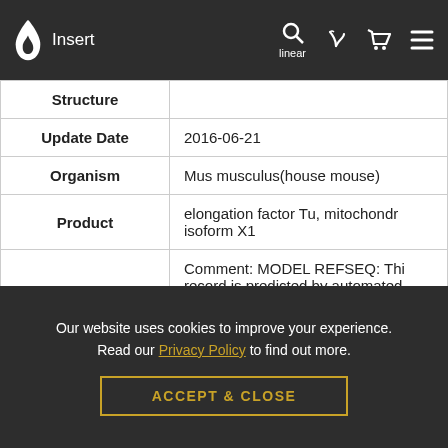Insert linear
| Field | Value |
| --- | --- |
| Structure |  |
| Update Date | 2016-06-21 |
| Organism | Mus musculus(house mouse) |
| Product | elongation factor Tu, mitochondrial isoform X1 |
|  | Comment: MODEL REFSEQ: This record is predicted by automated computational analysis. This record is derived from a genomic |
Our website uses cookies to improve your experience. Read our Privacy Policy to find out more.
ACCEPT & CLOSE